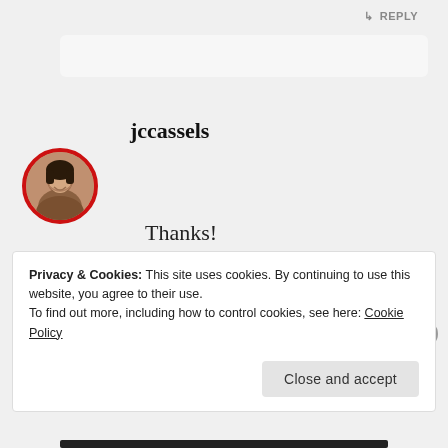↳ REPLY
jccassels
Thanks!
OCTOBER 13, 2012 AT 1:14 PM
↳ REPLY
Privacy & Cookies: This site uses cookies. By continuing to use this website, you agree to their use.
To find out more, including how to control cookies, see here: Cookie Policy
Close and accept